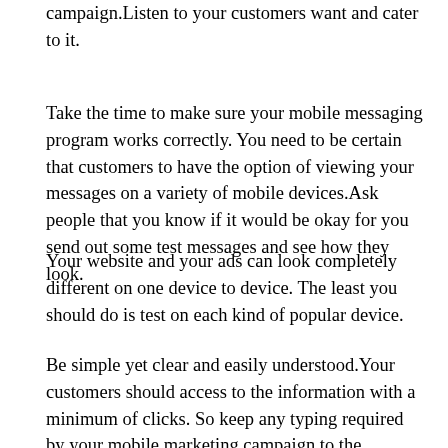what is missing from your mobile marketing campaign.Listen to your customers want and cater to it.
Take the time to make sure your mobile messaging program works correctly. You need to be certain that customers to have the option of viewing your messages on a variety of mobile devices.Ask people that you know if it would be okay for you send out some test messages and see how they look.
Your website and your ads can look completely different on one device to device. The least you should do is test on each kind of popular device.
Be simple yet clear and easily understood.Your customers should access to the information with a minimum of clicks. So keep any typing required by your mobile marketing campaign to the smallest amount possible.